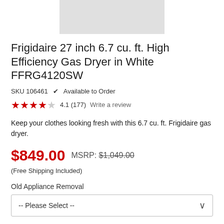[Figure (photo): Partial product image of the Frigidaire gas dryer, cropped/cut off at the top]
Frigidaire 27 inch 6.7 cu. ft. High Efficiency Gas Dryer in White FFRG4120SW
SKU 106461  ✓ Available to Order
★★★★☆ 4.1 (177)  Write a review
Keep your clothes looking fresh with this 6.7 cu. ft. Frigidaire gas dryer.
$849.00  MSRP: $1,049.00
(Free Shipping Included)
Old Appliance Removal
-- Please Select --